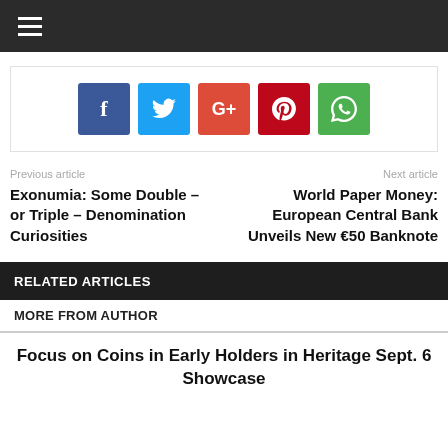☰
[Figure (infographic): Social share buttons: Facebook (blue), Twitter (cyan), Google+ (orange-red), Pinterest (dark red), WhatsApp (green)]
Previous article
Next article
Exonumia: Some Double – or Triple – Denomination Curiosities
World Paper Money: European Central Bank Unveils New €50 Banknote
RELATED ARTICLES
MORE FROM AUTHOR
Focus on Coins in Early Holders in Heritage Sept. 6 Showcase